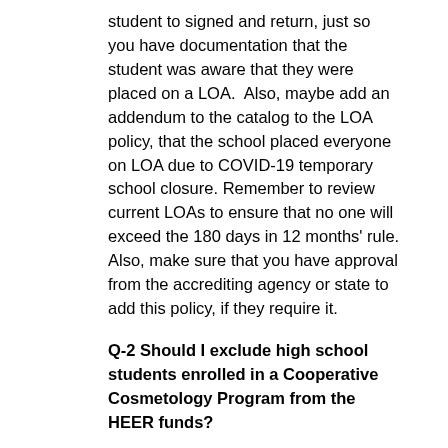student to signed and return, just so you have documentation that the student was aware that they were placed on a LOA.  Also, maybe add an addendum to the catalog to the LOA policy, that the school placed everyone on LOA due to COVID-19 temporary school closure. Remember to review current LOAs to ensure that no one will exceed the 180 days in 12 months' rule. Also, make sure that you have approval from the accrediting agency or state to add this policy, if they require it.
Q-2 Should I exclude high school students enrolled in a Cooperative Cosmetology Program from the HEER funds?
A-2 Yes, non-title IV students are not eligible for the HEERF grant fund to students.
Q-3 It seems clear that emergency funds are not allocated to 100% online schools and students